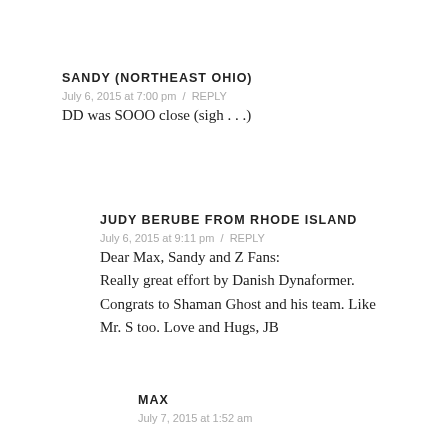SANDY (NORTHEAST OHIO)
July 6, 2015 at 7:00 pm  /  REPLY
DD was SOOO close (sigh . . .)
JUDY BERUBE FROM RHODE ISLAND
July 6, 2015 at 9:11 pm  /  REPLY
Dear Max, Sandy and Z Fans:
Really great effort by Danish Dynaformer.
Congrats to Shaman Ghost and his team. Like
Mr. S too. Love and Hugs, JB
MAX
July 7, 2015 at 1:52 am